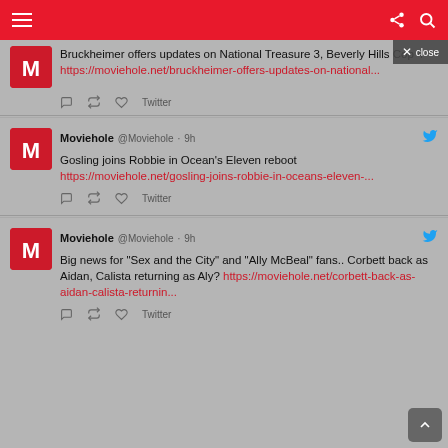Moviehole — navigation bar with hamburger menu and share/search icons
Bruckheimer offers updates on National Treasure 3, Beverly Hills Cop 4 https://moviehole.net/bruckheimer-offers-updates-on-national...
Moviehole @Moviehole · 9h — Gosling joins Robbie in Ocean's Eleven reboot https://moviehole.net/gosling-joins-robbie-in-oceans-eleven-...
Moviehole @Moviehole · 9h — Big news for "Sex and the City" and "Ally McBeal" fans.. Corbett back as Aidan, Calista returning as Aly? https://moviehole.net/corbett-back-as-aidan-calista-returnin...